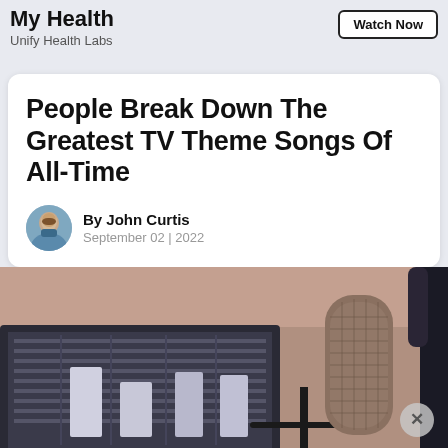My Health
Unify Health Labs
Watch Now
People Break Down The Greatest TV Theme Songs Of All-Time
By John Curtis
September 02 | 2022
[Figure (photo): Photo of a professional studio microphone in the foreground with a monitor/computer screen in the background, salmon/peach colored wall, dark tones]